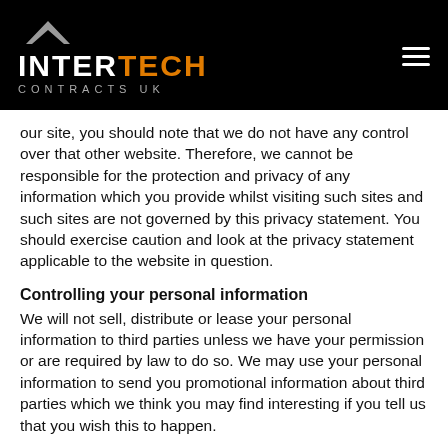INTERTECH CONTRACTS UK
our site, you should note that we do not have any control over that other website. Therefore, we cannot be responsible for the protection and privacy of any information which you provide whilst visiting such sites and such sites are not governed by this privacy statement. You should exercise caution and look at the privacy statement applicable to the website in question.
Controlling your personal information
We will not sell, distribute or lease your personal information to third parties unless we have your permission or are required by law to do so. We may use your personal information to send you promotional information about third parties which we think you may find interesting if you tell us that you wish this to happen.